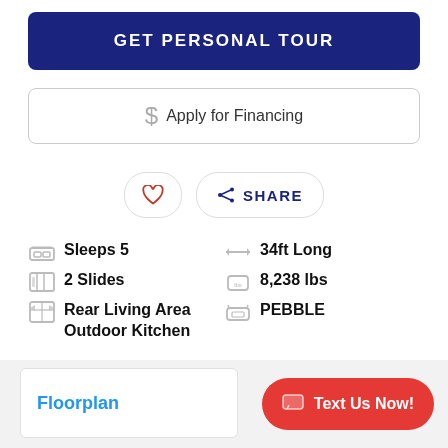GET PERSONAL TOUR
$ Apply for Financing
♡  SHARE
Sleeps 5
2 Slides
Rear Living Area Outdoor Kitchen
34ft Long
8,238 lbs
PEBBLE
Floorplan
Text Us Now!